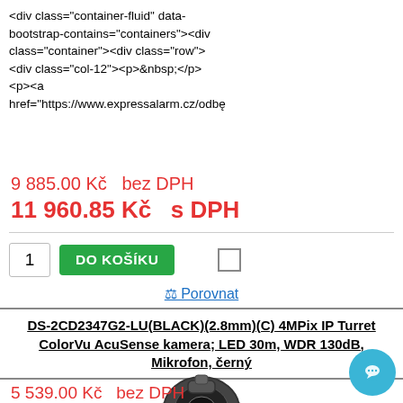<div class="container-fluid" data-bootstrap-contains="containers"><div class="container"><div class="row"> <div class="col-12"><p>&nbsp;</p> <p><a href="https://www.expressalarm.cz/odbе
9 885.00 Kč  bez DPH
11 960.85 Kč  s DPH
[Figure (screenshot): Cart interface with quantity 1 input box, green DO KOŠÍKU button, and compare checkbox]
⚖ Porovnat
DS-2CD2347G2-LU(BLACK)(2.8mm)(C) 4MPix IP Turret ColorVu AcuSense kamera; LED 30m, WDR 130dB, Mikrofon, černý
[Figure (photo): Black IP turret security camera, dome style, viewed from front-above angle]
<p>
<a
href
tec
Ima
q=c &position=2"
K provozování našeho webu www.telexion.cz využíváme takzvané cookies. Cookies jsou soubory sloužící k přizpůsobení obsahu webu, k měření jeho funkčnosti a obecně k zajištění vaší maximální spokojenosti. Používáním tohoto webu souhlasíte se způsobem, jakým s cookies nakládáme.
OK
5 539.00 Kč  bez DPH